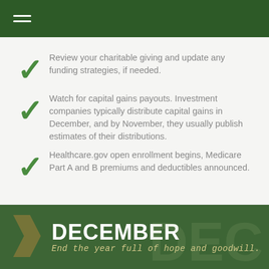Menu / Navigation header bar
Review your charitable giving and update any funding strategies, if needed.
Watch for capital gains payouts. Investment companies typically distribute capital gains in December, and by November, they usually publish estimates of their distributions.
Healthcare.gov open enrollment begins, Medicare Part A and B premiums and deductibles announced.
DECEMBER – End the year full of hope and goodwill.